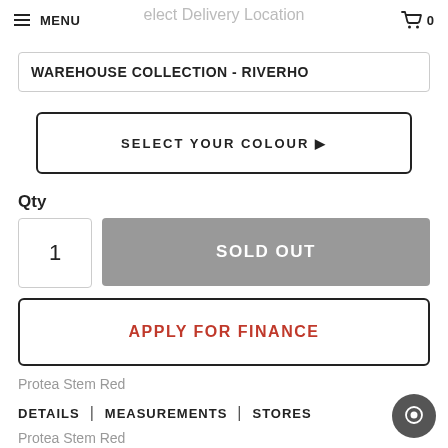MENU | Select Delivery Location | 0
WAREHOUSE COLLECTION - RIVERHO
SELECT YOUR COLOUR ▶
Qty
1
SOLD OUT
APPLY FOR FINANCE
Protea Stem Red
DETAILS | MEASUREMENTS | STORES
Protea Stem Red